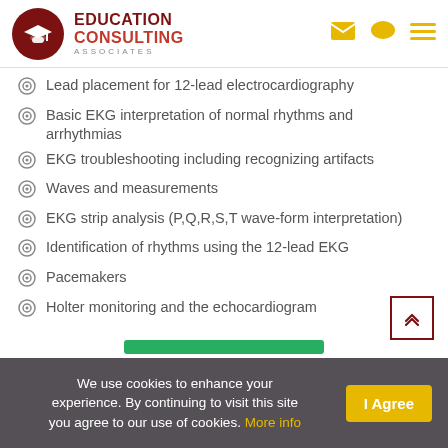[Figure (logo): Education Consulting Associates logo with mortarboard icon in dark red circle, company name in dark red/crimson, navigation icons (email, chat, menu) in gold]
Lead placement for 12-lead electrocardiography
Basic EKG interpretation of normal rhythms and arrhythmias
EKG troubleshooting including recognizing artifacts
Waves and measurements
EKG strip analysis (P,Q,R,S,T wave-form interpretation)
Identification of rhythms using the 12-lead EKG
Pacemakers
Holter monitoring and the echocardiogram
We use cookies to enhance your experience. By continuing to visit this site you agree to our use of cookies. More info